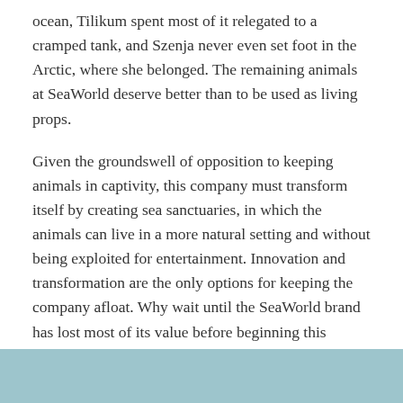ocean, Tilikum spent most of it relegated to a cramped tank, and Szenja never even set foot in the Arctic, where she belonged. The remaining animals at SeaWorld deserve better than to be used as living props.
Given the groundswell of opposition to keeping animals in captivity, this company must transform itself by creating sea sanctuaries, in which the animals can live in a more natural setting and without being exploited for entertainment. Innovation and transformation are the only options for keeping the company afloat. Why wait until the SeaWorld brand has lost most of its value before beginning this process?
PETA's motto reads, in part, that “animals are not ours to use for entertainment,” and more information is available at SeaWorldOfHurt.com.